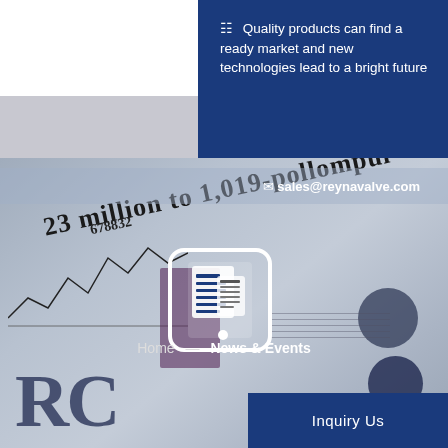Quality products can find a ready market and new technologies lead to a bright future
sales@reynavalve.com
[Figure (photo): Person holding an open newspaper/financial report with charts, graphs, and large typographic text visible]
[Figure (illustration): White newspaper/document icon overlay on the photo]
Home — News & Events
Inquiry Us